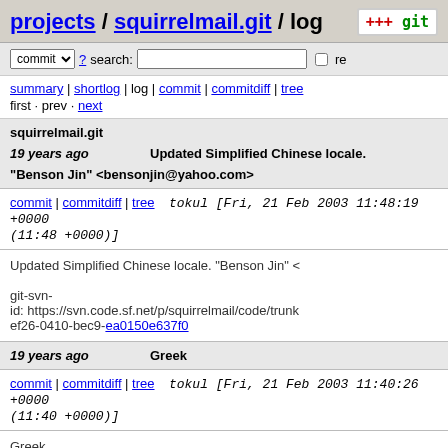projects / squirrelmail.git / log
commit ? search: re
summary | shortlog | log | commit | commitdiff | tree
first · prev · next
squirrelmail.git
19 years ago   Updated Simplified Chinese locale.
"Benson Jin" <bensonjin@yahoo.com>
commit | commitdiff | tree   tokul [Fri, 21 Feb 2003 11:48:19 +0000 (11:48 +0000)]
Updated Simplified Chinese locale. "Benson Jin" <
git-svn-id: https://svn.code.sf.net/p/squirrelmail/code/trunk ef26-0410-bec9-ea0150e637f0
19 years ago   Greek
commit | commitdiff | tree   tokul [Fri, 21 Feb 2003 11:40:26 +0000 (11:40 +0000)]
Greek
git-svn-